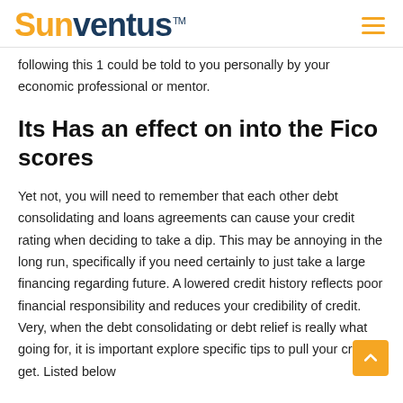Sunventus™
following this 1 could be told to you personally by your economic professional or mentor.
Its Has an effect on into the Fico scores
Yet not, you will need to remember that each other debt consolidating and loans agreements can cause your credit rating when deciding to take a dip. This may be annoying in the long run, specifically if you need certainly to just take a large financing regarding future. A lowered credit history reflects poor financial responsibility and reduces your credibility of credit. Very, when the debt consolidating or debt relief is really what going for, it is important explore specific tips to pull your credit get. Listed below